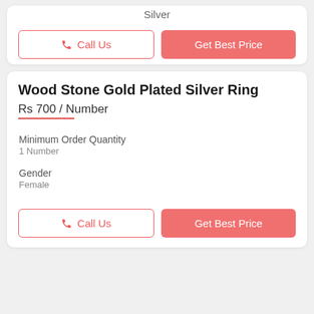Silver
Call Us
Get Best Price
Wood Stone Gold Plated Silver Ring
Rs 700 / Number
Minimum Order Quantity
1 Number
Gender
Female
Call Us
Get Best Price